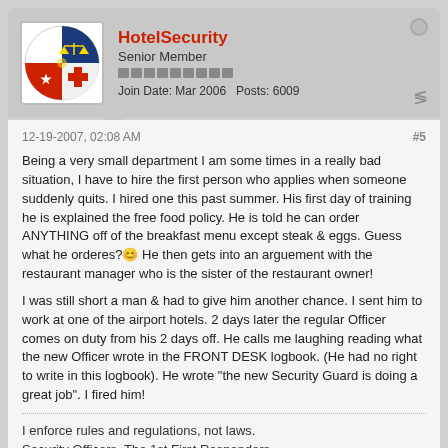HotelSecurity
Senior Member
Join Date: Mar 2006   Posts: 6009
12-19-2007, 02:08 AM
#5
Being a very small department I am some times in a really bad situation, I have to hire the first person who applies when someone suddenly quits. I hired one this past summer. His first day of training he is explained the free food policy. He is told he can order ANYTHING off of the breakfast menu except steak & eggs. Guess what he orderes? 😊 He then gets into an arguement with the restaurant manager who is the sister of the restaurant owner!
I was still short a man & had to give him another chance. I sent him to work at one of the airport hotels. 2 days later the regular Officer comes on duty from his 2 days off. He calls me laughing reading what the new Officer wrote in the FRONT DESK logbook. (He had no right to write in this logbook). He wrote "the new Security Guard is doing a great job". I fired him!
I enforce rules and regulations, not laws.
Security Officers. The 1st First Responders.